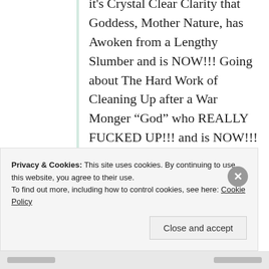it's Crystal Clear Clarity that Goddess, Mother Nature, has Awoken from a Lengthy Slumber and is NOW!!! Going about The Hard Work of Cleaning Up after a War Monger “God” who REALLY FUCKED UP!!! and is NOW!!! Sheepish, Quivering in His
Privacy & Cookies: This site uses cookies. By continuing to use this website, you agree to their use.
To find out more, including how to control cookies, see here: Cookie Policy
Close and accept